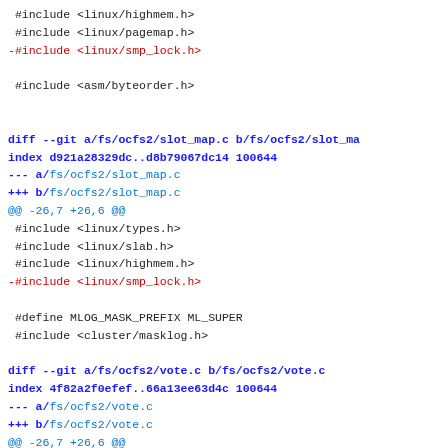diff --git code snippet showing removal of linux/smp_lock.h from multiple ocfs2 source files
#include <linux/highmem.h>
#include <linux/pagemap.h>
-#include <linux/smp_lock.h>

 #include <asm/byteorder.h>
diff --git a/fs/ocfs2/slot_map.c b/fs/ocfs2/slot_ma
index d921a28329dc..d8b79067dc14 100644
--- a/fs/ocfs2/slot_map.c
+++ b/fs/ocfs2/slot_map.c
@@ -26,7 +26,6 @@
 #include <linux/types.h>
 #include <linux/slab.h>
 #include <linux/highmem.h>
-#include <linux/smp_lock.h>

 #define MLOG_MASK_PREFIX ML_SUPER
 #include <cluster/masklog.h>
diff --git a/fs/ocfs2/vote.c b/fs/ocfs2/vote.c
index 4f82a2f0efef..66a13ee63d4c 100644
--- a/fs/ocfs2/vote.c
+++ b/fs/ocfs2/vote.c
@@ -26,7 +26,6 @@
 #include <linux/types.h>
 #include <linux/slab.h>